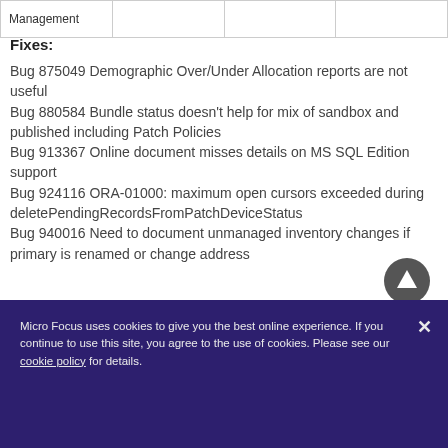| Management |  |  |  |
| --- | --- | --- | --- |
Fixes:
Bug 875049 Demographic Over/Under Allocation reports are not useful
Bug 880584 Bundle status doesn't help for mix of sandbox and published including Patch Policies
Bug 913367 Online document misses details on MS SQL Edition support
Bug 924116 ORA-01000: maximum open cursors exceeded during deletePendingRecordsFromPatchDeviceStatus
Bug 940016 Need to document unmanaged inventory changes if primary is renamed or change address
Micro Focus uses cookies to give you the best online experience. If you continue to use this site, you agree to the use of cookies. Please see our cookie policy for details.